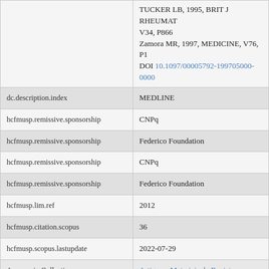| Field | Value |
| --- | --- |
|  | TUCKER LB, 1995, BRIT J RHEUMAT V34, P866
Zamora MR, 1997, MEDICINE, V76, P1
DOI 10.1097/00005792-199705000-0000 |
| dc.description.index | MEDLINE |
| hcfmusp.remissive.sponsorship | CNPq |
| hcfmusp.remissive.sponsorship | Federico Foundation |
| hcfmusp.remissive.sponsorship | CNPq |
| hcfmusp.remissive.sponsorship | Federico Foundation |
| hcfmusp.lim.ref | 2012 |
| hcfmusp.citation.scopus | 36 |
| hcfmusp.scopus.lastupdate | 2022-07-29 |
| Appears in Collections: | Artigos e Materiais de Revistas Científicas FM/MCM |